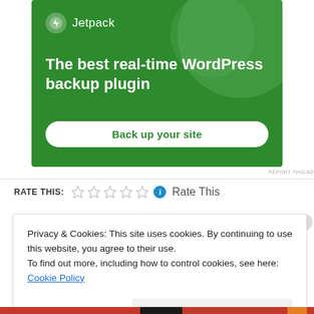[Figure (illustration): Jetpack plugin advertisement banner on green background with logo, headline 'The best real-time WordPress backup plugin', and 'Back up your site' button]
REPORT THIS AD
RATE THIS: ☆☆☆☆☆ ℹ Rate This
Privacy & Cookies: This site uses cookies. By continuing to use this website, you agree to their use.
To find out more, including how to control cookies, see here: Cookie Policy
Close and accept